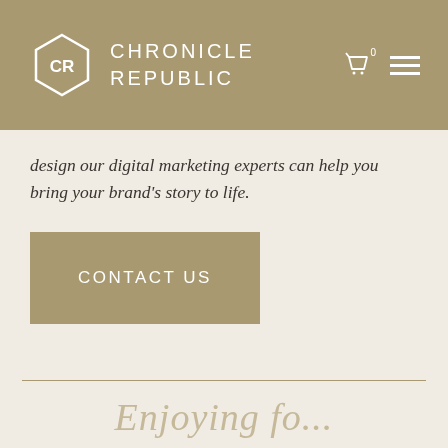CHRONICLE REPUBLIC
design our digital marketing experts can help you bring your brand's story to life.
CONTACT US
Enjoying fo...